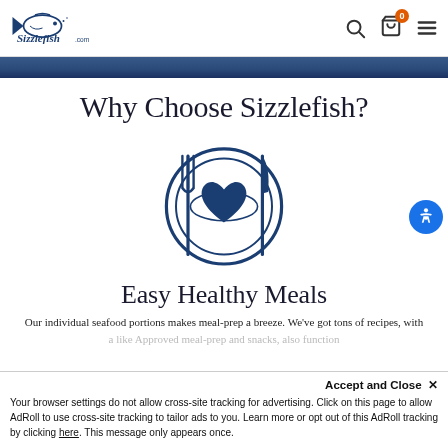Sizzlefish.com navigation header with logo, search icon, cart (0), and menu icon
[Figure (screenshot): Header image strip showing partial seafood photo in dark blue tones]
Why Choose Sizzlefish?
[Figure (illustration): Icon of a plate with a heart on it, flanked by a fork on the left and a knife on the right, in dark navy outline style]
Easy Healthy Meals
Our individual seafood portions makes meal-prep a breeze. We've got tons of recipes, with
a like Approved meal-prep and snacks, also function
Accept and Close ✕
Your browser settings do not allow cross-site tracking for advertising. Click on this page to allow AdRoll to use cross-site tracking to tailor ads to you. Learn more or opt out of this AdRoll tracking by clicking here. This message only appears once.